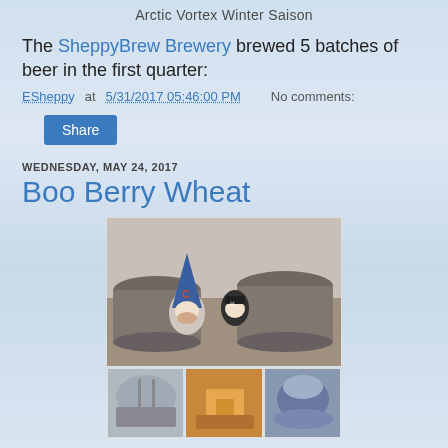Arctic Vortex Winter Saison
The SheppyBrew Brewery brewed 5 batches of beer in the first quarter:
ESheppy at 5/31/2017 05:46:00 PM    No comments:
Share
WEDNESDAY, MAY 24, 2017
Boo Berry Wheat
[Figure (photo): Two gnome figurines (one in a blue wizard hat with a 'C' logo, one in a pirate outfit) surrounded by large stainless steel brewing pots in a kitchen setting. Below are three smaller photos showing brewing equipment and outdoor scenes.]